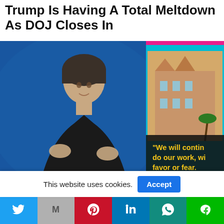Trump Is Having A Total Meltdown As DOJ Closes In
[Figure (screenshot): TV screenshot of Rachel Maddow on MSNBC with an inset image of Mar-a-Lago and text overlay reading 'We will continue to do our work, without favor or fear.']
Rachel Maddow Shows How Trump's
This website uses cookies.
[Figure (infographic): Social media share bar with Twitter, Gmail, Pinterest, LinkedIn, WhatsApp, and Line buttons]